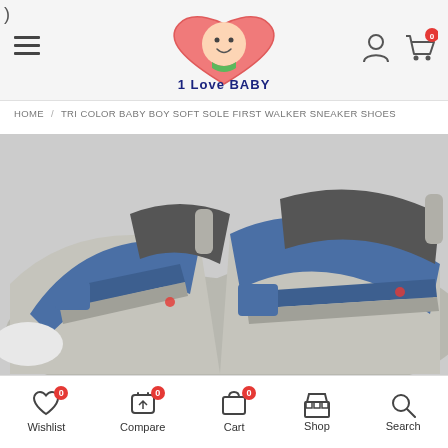[Figure (logo): 1 Love Baby logo with heart and baby face]
HOME / TRI COLOR BABY BOY SOFT SOLE FIRST WALKER SNEAKER SHOES
[Figure (photo): Close-up photo of tri-color baby boy sneaker shoes in blue, grey and white with velcro straps]
Wishlist 0  Compare 0  Cart 0  Shop  Search